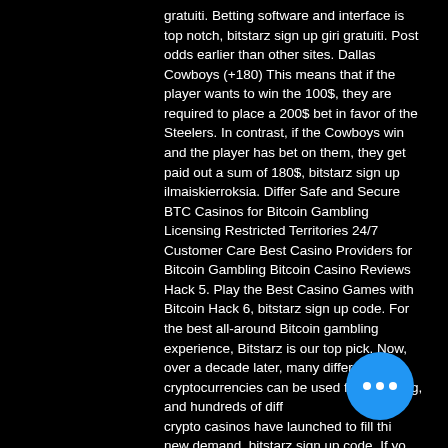gratuiti. Betting software and interface is top notch, bitstarz sign up giri gratuiti. Post odds earlier than other sites. Dallas Cowboys (+180) This means that if the player wants to win the 100$, they are required to place a 200$ bet in favor of the Steelers. In contrast, if the Cowboys win and the player has bet on them, they get paid out a sum of 180$, bitstarz sign up ilmaiskierroksia. Differ Safe and Secure BTC Casinos for Bitcoin Gambling Licensing Restricted Territories 24/7 Customer Care Best Casino Providers for Bitcoin Gambling Bitcoin Casino Reviews Hack 5. Play the Best Casino Games with Bitcoin Hack 6, bitstarz sign up code. For the best all-around Bitcoin gambling experience, Bitstarz is our top pick. Now, over a decade later, many different cryptocurrencies can be used for gambling, and hundreds of different crypto casinos have launched to fill this new demand, bitstarz sign up code. If you head over to BitStarz, you'll see that the
[Figure (other): Blue circular chat bubble button with three white dots (ellipsis), positioned in the bottom-right area of the page]